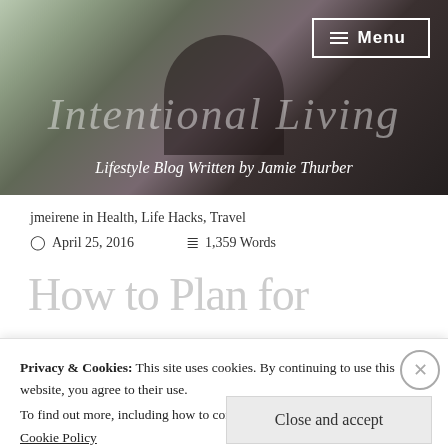[Figure (photo): Header photo of a woman with red hair writing at a desk near a window. Blog header for 'Intentional Living' lifestyle blog.]
Menu
Lifestyle Blog Written by Jamie Thurber
jmeirene in Health, Life Hacks, Travel
April 25, 2016   1,359 Words
How to Plan for
Privacy & Cookies: This site uses cookies. By continuing to use this website, you agree to their use.
To find out more, including how to control cookies, see here:
Cookie Policy
Close and accept